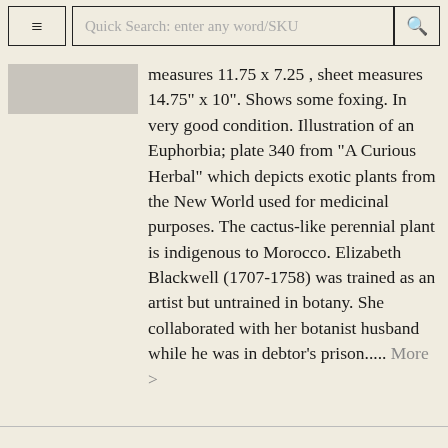≡  Quick Search: enter any word/SKU  🔍
measures 11.75 x 7.25, sheet measures 14.75" x 10". Shows some foxing. In very good condition. Illustration of an Euphorbia; plate 340 from "A Curious Herbal" which depicts exotic plants from the New World used for medicinal purposes. The cactus-like perennial plant is indigenous to Morocco. Elizabeth Blackwell (1707-1758) was trained as an artist but untrained in botany. She collaborated with her botanist husband while he was in debtor's prison..... More >